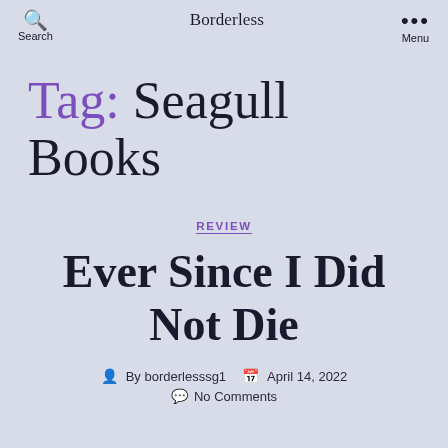Search | Borderless | Menu
Tag: Seagull Books
REVIEW
Ever Since I Did Not Die
By borderlesssg1  April 14, 2022  No Comments